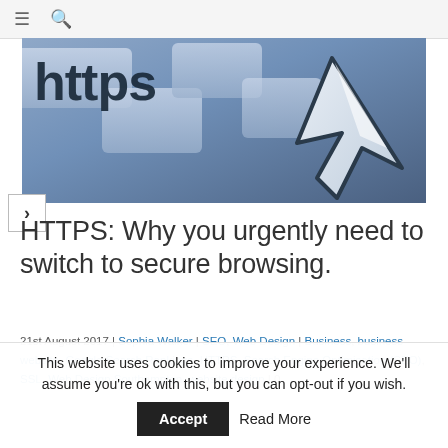☰ 🔍
[Figure (photo): Close-up photograph of a browser address bar showing 'https' text with a large white mouse cursor arrow overlaid on a blue/steel gradient background]
HTTPS: Why you urgently need to switch to secure browsing.
21st August 2017 | Sophia Walker | SEO, Web Design | Business, business website, Google Search Rankings, HTTPS, Search Engine Optimisation (SEO), SSL, Web Design Southampton, website design | 0
This website uses cookies to improve your experience. We'll assume you're ok with this, but you can opt-out if you wish. Accept Read More